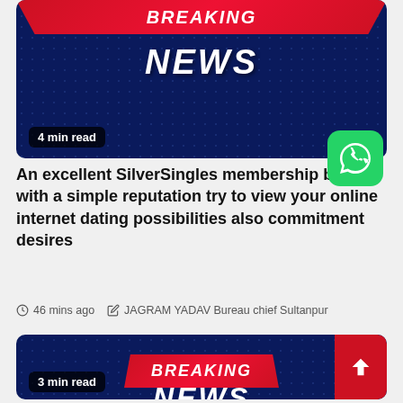[Figure (screenshot): Breaking News banner card with navy blue background, red BREAKING banner at top, large white italic NEWS text, and '4 min read' label]
[Figure (logo): WhatsApp green rounded square button with phone icon]
An excellent SilverSingles membership begins with a simple reputation try to view your online internet dating possibilities also commitment desires
46 mins ago   JAGRAM YADAV Bureau chief Sultanpur
[Figure (screenshot): Second Breaking News banner card with navy blue background, red BREAKING banner, large white italic NEWS text, and '3 min read' label]